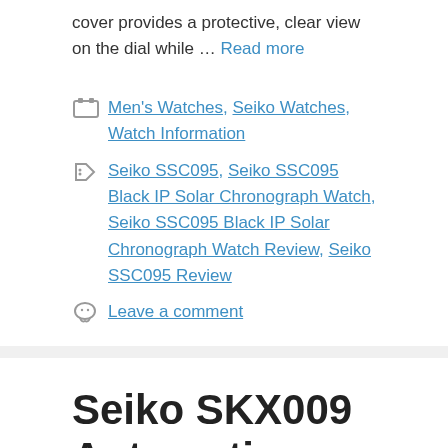cover provides a protective, clear view on the dial while … Read more
Categories: Men's Watches, Seiko Watches, Watch Information
Tags: Seiko SSC095, Seiko SSC095 Black IP Solar Chronograph Watch, Seiko SSC095 Black IP Solar Chronograph Watch Review, Seiko SSC095 Review
Leave a comment
Seiko SKX009 Automatic Diver's